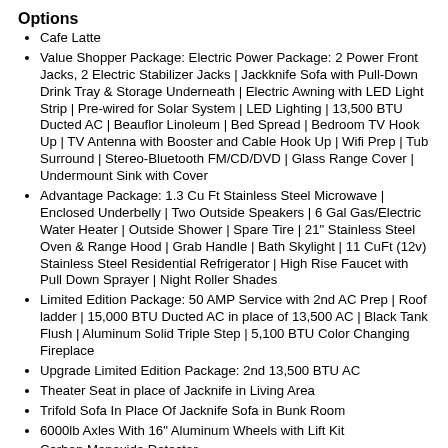Options
Cafe Latte
Value Shopper Package: Electric Power Package: 2 Power Front Jacks, 2 Electric Stabilizer Jacks | Jackknife Sofa with Pull-Down Drink Tray & Storage Underneath | Electric Awning with LED Light Strip | Pre-wired for Solar System | LED Lighting | 13,500 BTU Ducted AC | Beauflor Linoleum | Bed Spread | Bedroom TV Hook Up | TV Antenna with Booster and Cable Hook Up | Wifi Prep | Tub Surround | Stereo-Bluetooth FM/CD/DVD | Glass Range Cover | Undermount Sink with Cover
Advantage Package: 1.3 Cu Ft Stainless Steel Microwave | Enclosed Underbelly | Two Outside Speakers | 6 Gal Gas/Electric Water Heater | Outside Shower | Spare Tire | 21" Stainless Steel Oven & Range Hood | Grab Handle | Bath Skylight | 11 CuFt (12v) Stainless Steel Residential Refrigerator | High Rise Faucet with Pull Down Sprayer | Night Roller Shades
Limited Edition Package: 50 AMP Service with 2nd AC Prep | Roof ladder | 15,000 BTU Ducted AC in place of 13,500 AC | Black Tank Flush | Aluminum Solid Triple Step | 5,100 BTU Color Changing Fireplace
Upgrade Limited Edition Package: 2nd 13,500 BTU AC
Theater Seat in place of Jacknife in Living Area
Trifold Sofa In Place Of Jacknife Sofa in Bunk Room
6000lb Axles With 16" Aluminum Wheels with Lift Kit
Carbon Monoxide Detector
12V Deep Cycle Battery
Specifications